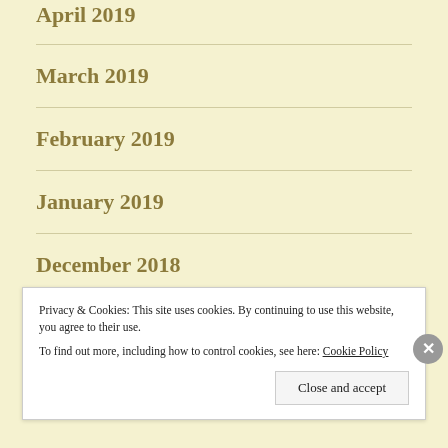April 2019
March 2019
February 2019
January 2019
December 2018
November 2018
Privacy & Cookies: This site uses cookies. By continuing to use this website, you agree to their use.
To find out more, including how to control cookies, see here: Cookie Policy
Close and accept